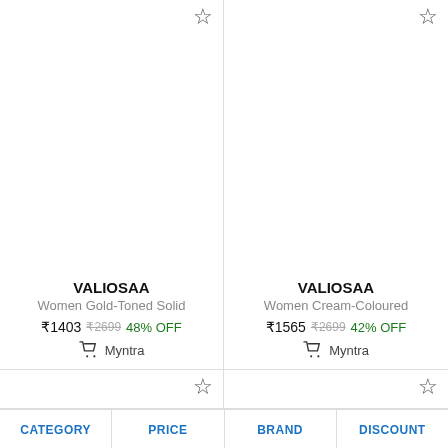VALIOSAA
Women Gold-Toned Solid
₹1403 ₹2699 48% OFF
Myntra
VALIOSAA
Women Cream-Coloured
₹1565 ₹2699 42% OFF
Myntra
CATEGORY
PRICE
BRAND
DISCOUNT